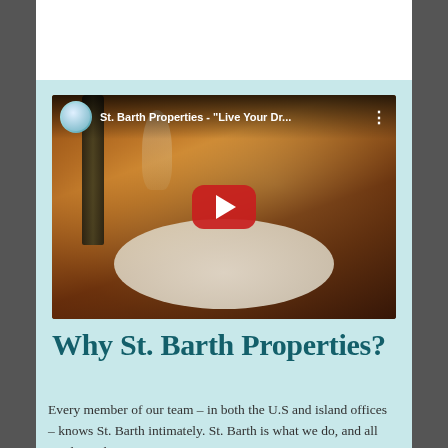[Figure (screenshot): YouTube video thumbnail showing St. Barth Properties 'Live Your Dr...' video with a dinner/food scene and red YouTube play button]
Why St. Barth Properties?
Every member of our team – in both the U.S and island offices – knows St. Barth intimately. St. Barth is what we do, and all we do, and we are